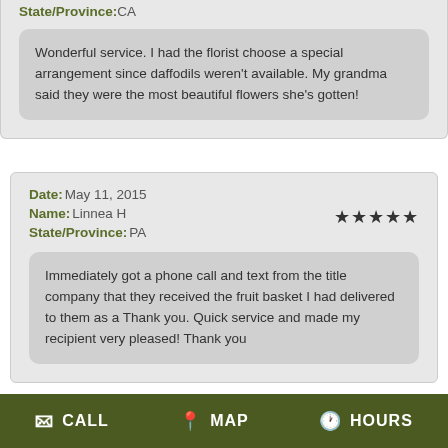State/Province:CA
Wonderful service. I had the florist choose a special arrangement since daffodils weren't available. My grandma said they were the most beautiful flowers she's gotten!
Date: May 11, 2015
Name: Linnea H
State/Province:PA
Immediately got a phone call and text from the title company that they received the fruit basket I had delivered to them as a Thank you. Quick service and made my recipient very pleased! Thank you
CALL   MAP   HOURS